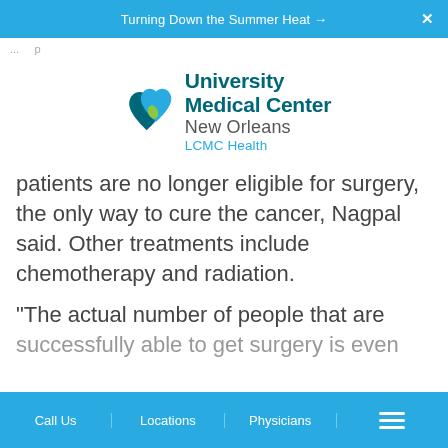Turning Down the Summer Heat →
...
[Figure (logo): University Medical Center New Orleans LCMC Health logo with teal and green heart icon]
patients are no longer eligible for surgery, the only way to cure the cancer, Nagpal said. Other treatments include chemotherapy and radiation.
"The actual number of people that are successfully able to get surgery is even
Call Us   Locations   Physicians   ☰